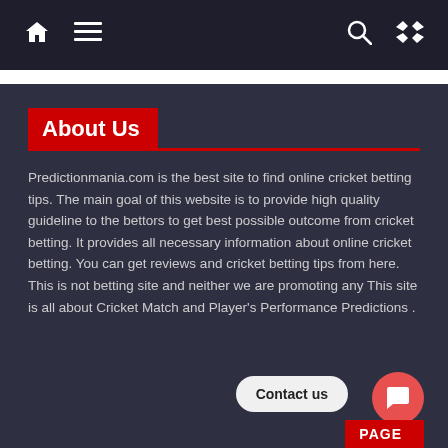[Figure (screenshot): Navigation bar with home icon, hamburger menu, search icon, and shuffle icon on dark background]
About Us
Predictionmania.com is the best site to find online cricket betting tips. The main goal of this website is to provide high quality guideline to the bettors to get best possible outcome from cricket betting. It provides all necessary information about online cricket betting. You can get reviews and cricket betting tips from here. This is not betting site and neither we are promoting any This site is all about Cricket Match and Player's Performance Predictions .
Contact us
PAGE